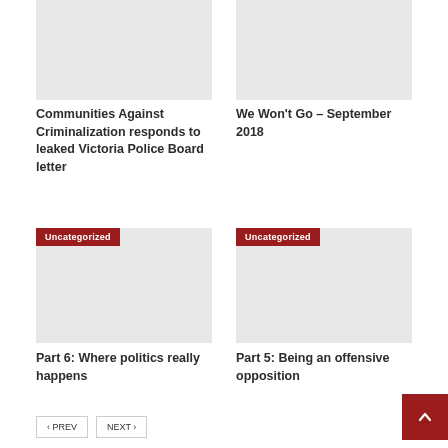[Figure (photo): Gray placeholder image top left, partially cropped]
[Figure (photo): Gray placeholder image top right, partially cropped]
Communities Against Criminalization responds to leaked Victoria Police Board letter
We Won't Go – September 2018
[Figure (photo): Gray placeholder image bottom left with Uncategorized badge]
[Figure (photo): Gray placeholder image bottom right with Uncategorized badge]
Part 6: Where politics really happens
Part 5: Being an offensive opposition
PREV
NEXT